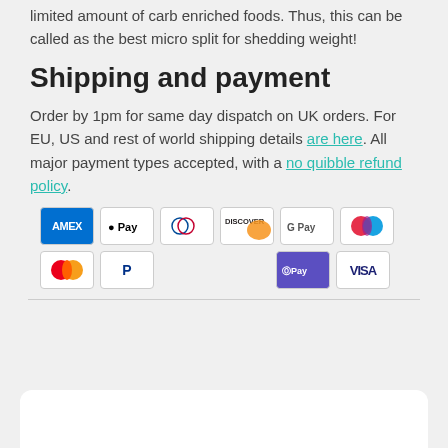limited amount of carb enriched foods. Thus, this can be called as the best micro split for shedding weight!
Shipping and payment
Order by 1pm for same day dispatch on UK orders. For EU, US and rest of world shipping details are here. All major payment types accepted, with a no quibble refund policy.
[Figure (infographic): Payment method icons: American Express, Apple Pay, Diners Club, Discover, Google Pay, Maestro, Mastercard, PayPal, OPay, Visa]